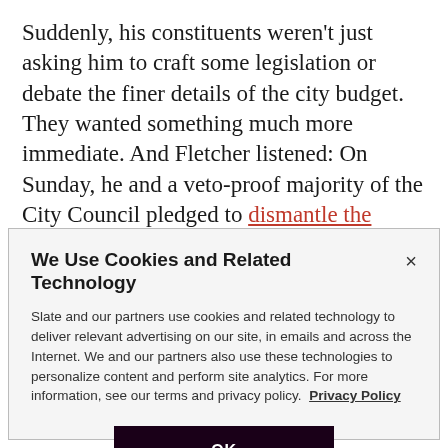Suddenly, his constituents weren't just asking him to craft some legislation or debate the finer details of the city budget. They wanted something much more immediate. And Fletcher listened: On Sunday, he and a veto-proof majority of the City Council pledged to dismantle the Minneapolis Police Department—completely.
We Use Cookies and Related Technology
Slate and our partners use cookies and related technology to deliver relevant advertising on our site, in emails and across the Internet. We and our partners also use these technologies to personalize content and perform site analytics. For more information, see our terms and privacy policy. Privacy Policy